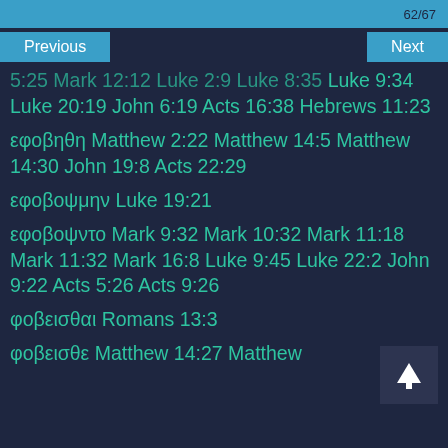62/67
Previous   Next
5:25 Mark 12:12 Luke 2:9 Luke 8:35 Luke 9:34 Luke 20:19 John 6:19 Acts 16:38 Hebrews 11:23
εφοβηθη Matthew 2:22 Matthew 14:5 Matthew 14:30 John 19:8 Acts 22:29
εφοβοψμην Luke 19:21
εφοβοψντο Mark 9:32 Mark 10:32 Mark 11:18 Mark 11:32 Mark 16:8 Luke 9:45 Luke 22:2 John 9:22 Acts 5:26 Acts 9:26
φοβεισθαι Romans 13:3
φοβεισθε Matthew 14:27 Matthew